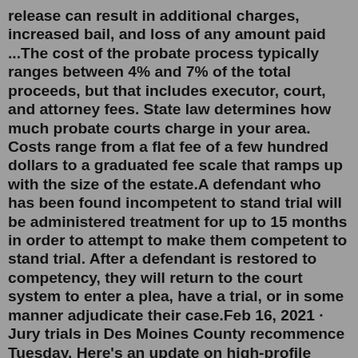release can result in additional charges, increased bail, and loss of any amount paid ...The cost of the probate process typically ranges between 4% and 7% of the total proceeds, but that includes executor, court, and attorney fees. State law determines how much probate courts charge in your area. Costs range from a flat fee of a few hundred dollars to a graduated fee scale that ramps up with the size of the estate.A defendant who has been found incompetent to stand trial will be administered treatment for up to 15 months in order to attempt to make them competent to stand trial. After a defendant is restored to competency, they will return to the court system to enter a plea, have a trial, or in some manner adjudicate their case.Feb 16, 2021 · Jury trials in Des Moines County recommence Tuesday. Here's an update on high-profile court cases. After a three-month hiatus, courts in Des Moines County reopen Tuesday. The Iowa Supreme Court ... Note: For proposed orders, Filed does not mean that the order has been entered. A status of Filed means only that